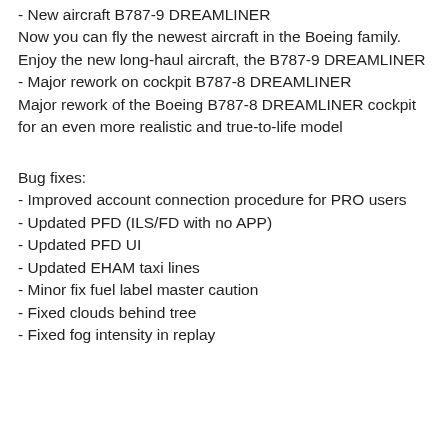- New aircraft B787-9 DREAMLINER
Now you can fly the newest aircraft in the Boeing family. Enjoy the new long-haul aircraft, the B787-9 DREAMLINER
- Major rework on cockpit B787-8 DREAMLINER
Major rework of the Boeing B787-8 DREAMLINER cockpit for an even more realistic and true-to-life model
Bug fixes:
- Improved account connection procedure for PRO users
- Updated PFD (ILS/FD with no APP)
- Updated PFD UI
- Updated EHAM taxi lines
- Minor fix fuel label master caution
- Fixed clouds behind tree
- Fixed fog intensity in replay